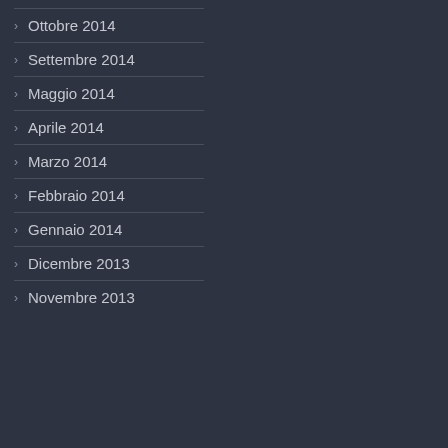Ottobre 2014
Settembre 2014
Maggio 2014
Aprile 2014
Marzo 2014
Febbraio 2014
Gennaio 2014
Dicembre 2013
Novembre 2013